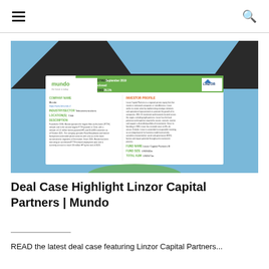☰ [hamburger menu] | [search icon]
[Figure (screenshot): Screenshot of a deal case highlight card showing Mundo (https://www.lemundo.cl) and Linzor Capital Partners. Contains company name, industry/sector (Telecommunications), location (Chile), description of Mundo as FTTH provider, investor profile of Linzor Capital Partners, fund name (Linzor Capital Partners III), fund size (USD632m), total AUM (USD671m). Date of investment: September 2019. Amount: Undisclosed. Portfolio stake: 26.1%.]
Deal Case Highlight Linzor Capital Partners | Mundo
READ the latest deal case featuring Linzor Capital Partners...